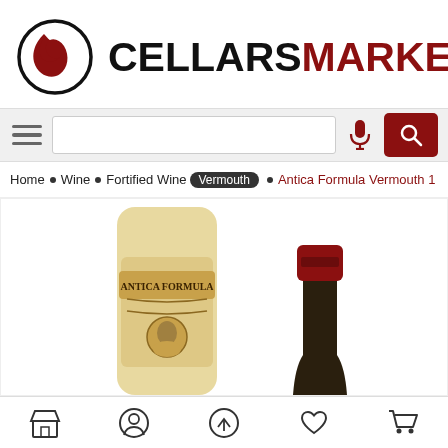[Figure (logo): CellarsMarket logo with circular icon containing a dark red/black curved shape and the text CELLARSMARKET in bold, CELLARS in black, MARKET in dark red]
[Figure (screenshot): Search bar with hamburger menu on left, microphone icon, and red search button on right]
Home • Wine • Fortified Wine • Vermouth • Antica Formula Vermouth 1
[Figure (photo): Product photo showing Antica Formula Vermouth bottles - one with parchment-style label showing 'ANTICA FORMULA' text and a portrait medallion, another showing a red-capped bottle neck on the right]
[Figure (screenshot): Bottom navigation bar with icons: store/shop, user profile, shuffle/share, heart/wishlist, shopping cart]